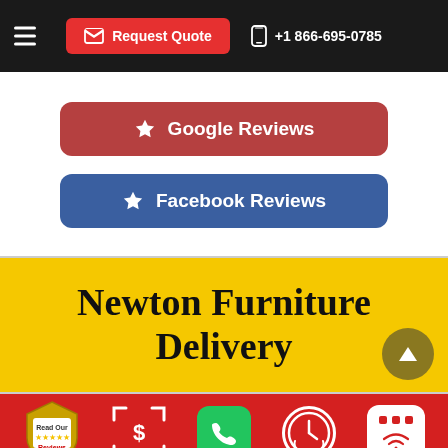[Figure (screenshot): Navigation bar with hamburger menu, red 'Request Quote' button with envelope icon, and phone number +1 866-695-0785 with phone icon on black background]
[Figure (infographic): White section with two review buttons: red 'Google Reviews' button with star icon, and blue 'Facebook Reviews' button with star icon]
Newton Furniture Delivery
[Figure (infographic): Red footer bar with five icons: Read Our Reviews shield badge, dollar scan icon, green phone button, clock icon, and chat/signal icon]